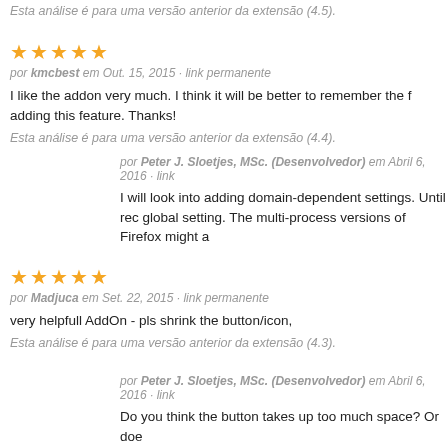Esta análise é para uma versão anterior da extensão (4.5).
★★★★★
por kmcbest em Out. 15, 2015 · link permanente
I like the addon very much. I think it will be better to remember the f adding this feature. Thanks!
Esta análise é para uma versão anterior da extensão (4.4).
por Peter J. Sloetjes, MSc. (Desenvolvedor) em Abril 6, 2016 · link
I will look into adding domain-dependent settings. Until rec global setting. The multi-process versions of Firefox might a
★★★★★
por Madjuca em Set. 22, 2015 · link permanente
very helpfull AddOn - pls shrink the button/icon,
Esta análise é para uma versão anterior da extensão (4.3).
por Peter J. Sloetjes, MSc. (Desenvolvedor) em Abril 6, 2016 · link
Do you think the button takes up too much space? Or doe